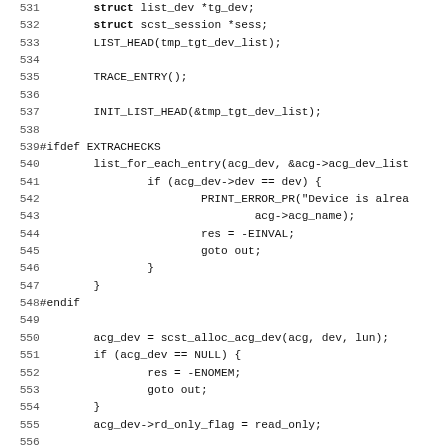Source code listing lines 531-563, C code snippet involving scst session, list operations, EXTRACHECKS ifdef, acg_dev allocation and activity suspension.